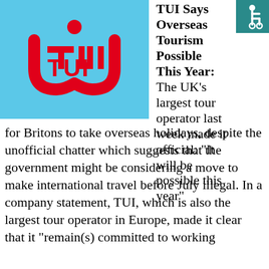[Figure (logo): TUI logo: red smiley-face symbol with dot above a curved U shape, text 'TUI' in red, on a light blue background]
[Figure (illustration): Wheelchair accessibility icon (white figure in wheelchair on teal/dark background), top right corner]
TUI Says Overseas Tourism Possible This Year: The UK's largest tour operator last week made it official: “It will be possible this year”
for Britons to take overseas holidays, despite the unofficial chatter which suggests that the government might be considering a move to make international travel before July illegal. In a company statement, TUI, which is also the largest tour operator in Europe, made it clear that it “remain(s) committed to working